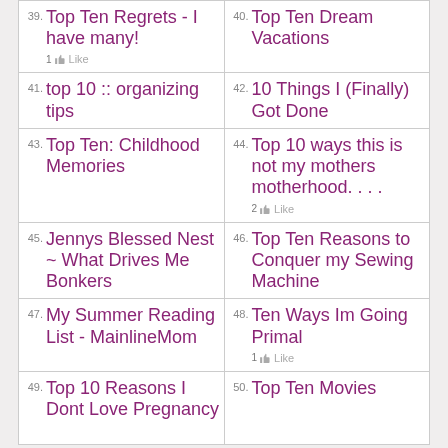39. Top Ten Regrets - I have many!
40. Top Ten Dream Vacations
41. top 10 :: organizing tips
42. 10 Things I (Finally) Got Done
43. Top Ten: Childhood Memories
44. Top 10 ways this is not my mothers motherhood....
45. Jennys Blessed Nest ~ What Drives Me Bonkers
46. Top Ten Reasons to Conquer my Sewing Machine
47. My Summer Reading List - MainlineMom
48. Ten Ways Im Going Primal
49. Top 10 Reasons I Dont Love Pregnancy
50. Top Ten Movies